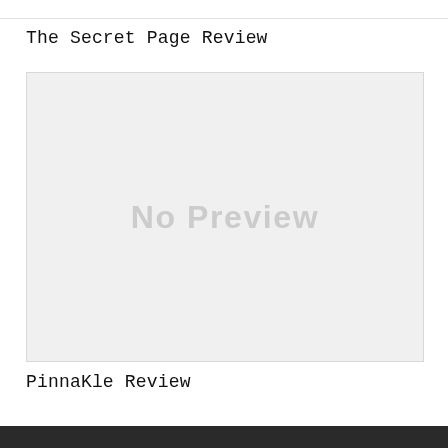The Secret Page Review
[Figure (other): No Preview placeholder image — a light grey rectangle with the text 'No Preview' in large light grey bold letters centered within it.]
PinnaKle Review